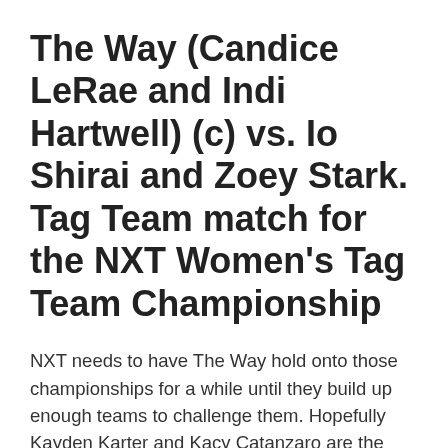The Way (Candice LeRae and Indi Hartwell) (c) vs. Io Shirai and Zoey Stark. Tag Team match for the NXT Women's Tag Team Championship
NXT needs to have The Way hold onto those championships for a while until they build up enough teams to challenge them. Hopefully Kayden Karter and Kacy Catanzaro are the ones to defeat The Way when they eventually have to lose the titles. But for now, The Way is retaining.
OUR PREDICTION: THE WAY